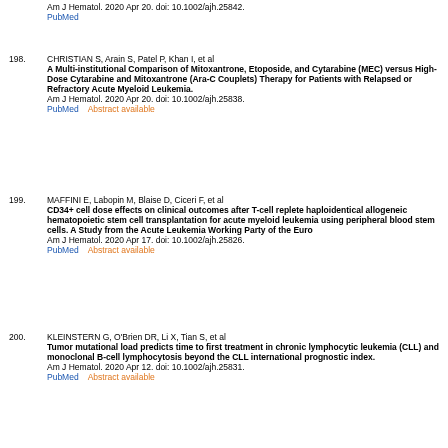Am J Hematol. 2020 Apr 20. doi: 10.1002/ajh.25842.
PubMed
198. CHRISTIAN S, Arain S, Patel P, Khan I, et al
A Multi-institutional Comparison of Mitoxantrone, Etoposide, and Cytarabine (MEC) versus High-Dose Cytarabine and Mitoxantrone (Ara-C Couplets) Therapy for Patients with Relapsed or Refractory Acute Myeloid Leukemia.
Am J Hematol. 2020 Apr 20. doi: 10.1002/ajh.25838.
PubMed    Abstract available
199. MAFFINI E, Labopin M, Blaise D, Ciceri F, et al
CD34+ cell dose effects on clinical outcomes after T-cell replete haploidentical allogeneic hematopoietic stem cell transplantation for acute myeloid leukemia using peripheral blood stem cells. A Study from the Acute Leukemia Working Party of the Euro
Am J Hematol. 2020 Apr 17. doi: 10.1002/ajh.25826.
PubMed    Abstract available
200. KLEINSTERN G, O'Brien DR, Li X, Tian S, et al
Tumor mutational load predicts time to first treatment in chronic lymphocytic leukemia (CLL) and monoclonal B-cell lymphocytosis beyond the CLL international prognostic index.
Am J Hematol. 2020 Apr 12. doi: 10.1002/ajh.25831.
PubMed    Abstract available